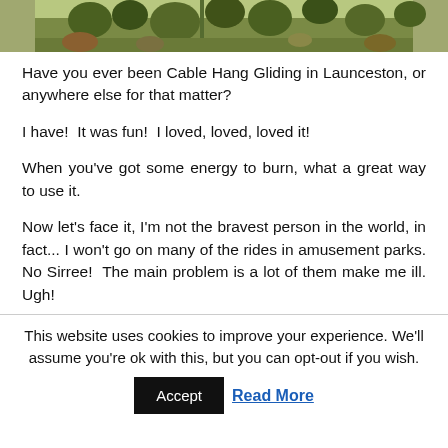[Figure (photo): A partial photo showing trees and foliage, appears to be an outdoor nature scene with green vegetation.]
Have you ever been Cable Hang Gliding in Launceston, or anywhere else for that matter?
I have!  It was fun!  I loved, loved, loved it!
When you've got some energy to burn, what a great way to use it.
Now let's face it, I'm not the bravest person in the world, in fact... I won't go on many of the rides in amusement parks. No Sirree!  The main problem is a lot of them make me ill. Ugh!
This website uses cookies to improve your experience. We'll assume you're ok with this, but you can opt-out if you wish.
Accept | Read More